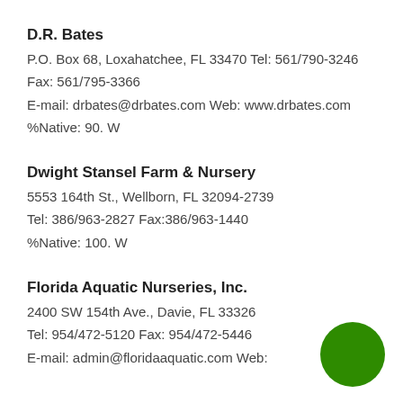D.R. Bates
P.O. Box 68, Loxahatchee, FL 33470 Tel: 561/790-3246
Fax: 561/795-3366
E-mail: drbates@drbates.com Web: www.drbates.com
%Native: 90. W
Dwight Stansel Farm & Nursery
5553 164th St., Wellborn, FL 32094-2739
Tel: 386/963-2827 Fax:386/963-1440
%Native: 100. W
Florida Aquatic Nurseries, Inc.
2400 SW 154th Ave., Davie, FL 33326
Tel: 954/472-5120 Fax: 954/472-5446
E-mail: admin@floridaaquatic.com Web:
[Figure (illustration): Green circle in bottom-right corner]